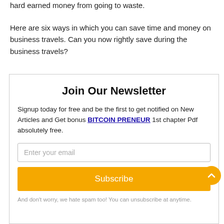hard earned money from going to waste.
Here are six ways in which you can save time and money on business travels. Can you now rightly save during the business travels?
Join Our Newsletter
Signup today for free and be the first to get notified on New Articles and Get bonus BITCOIN PRENEUR 1st chapter Pdf absolutely free.
Enter your email
Subscribe
And don't worry, we hate spam too! You can unsubscribe at anytime.